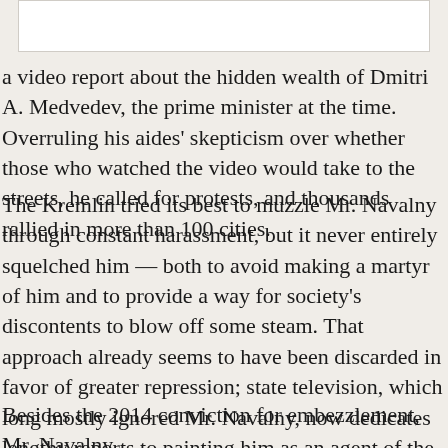[Figure (other): White rectangular image placeholder at the top of the page]
a video report about the hidden wealth of Dmitri A. Medvedev, the prime minister at the time. Overruling his aides' skepticism over whether those who watched the video would take to the streets, he called for protests, and thousands rallied in more than 100 cities.
The Kremlin tried its best to muzzle Mr. Navalny through constant harassment, but it never entirely squelched him — both to avoid making a martyr of him and to provide a way for society's discontents to blow off some steam. That approach already seems to have been discarded in favor of greater repression; state television, which long mostly ignored Mr. Navalny, now dedicates lengthy reports to painting him as an agent of the West.
Besides the 2014 conviction for embezzlement, Mr. Navalny